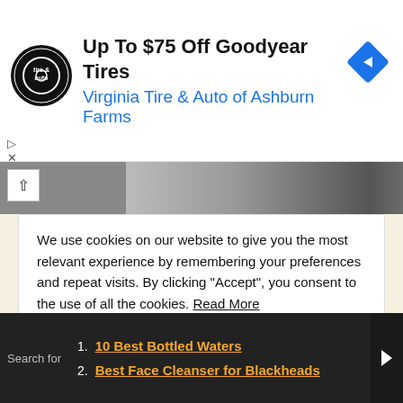[Figure (other): Advertisement banner for Virginia Tire & Auto of Ashburn Farms offering Up To $75 Off Goodyear Tires, with circular logo and blue navigation diamond icon]
[Figure (photo): Partial photo of a woman's face, cropped, with dark hair]
We use cookies on our website to give you the most relevant experience by remembering your preferences and repeat visits. By clicking “Accept”, you consent to the use of all the cookies. Read More
Do not sell my personal information.
Cookie settings   ACCEPT
Proper hydration prevents wrinkles and fine lines on your skin. Staying hydrated improves the elasticity of your skin,
1. 10 Best Bottled Waters
2. Best Face Cleanser for Blackheads